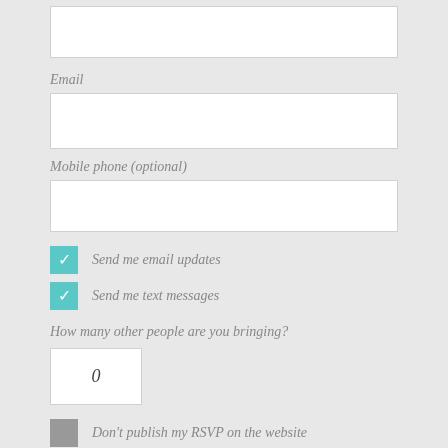[Figure (screenshot): Form input field (top, partially visible) — white rectangle input box]
Email
[Figure (screenshot): Email input field — white rectangle input box]
Mobile phone (optional)
[Figure (screenshot): Mobile phone input field — white rectangle input box]
Send me email updates
Send me text messages
How many other people are you bringing?
[Figure (screenshot): Number input box showing 0]
Don't publish my RSVP on the website
[Figure (screenshot): SEND RSVP button, teal colored, partially visible at bottom]